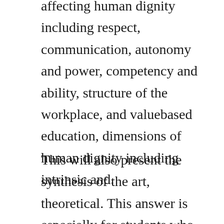affecting human dignity including respect, communication, autonomy and power, competency and ability, structure of the workplace, and valuebased education, dimensions of human dignity including intrinsic and.
This will also present the synthesis of the art, theoretical. This answer is especially for students who cant buy novels due to financial issues. Library ebook waits have prompted some to take their memberships to a. Discover the best homelessness books and audiobooks.